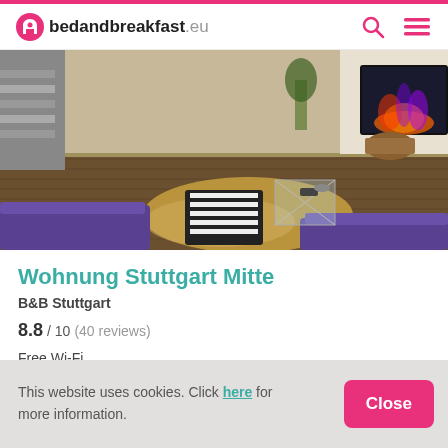bedandbreakfast.eu
[Figure (photo): Interior photo of a living room with wood-effect floor, purple sofa, zebra-print ottoman, cowhide rug, glass side table, and electric fireplace on the right wall.]
Wohnung Stuttgart Mitte
B&B Stuttgart
8.8 / 10  (40 reviews)
Free Wi-Fi
This website uses cookies. Click here for more information.